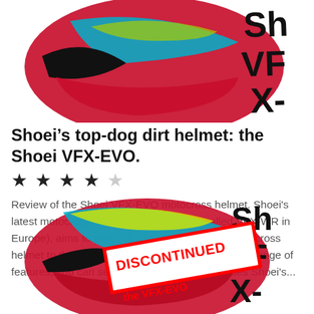[Figure (photo): Partial view of a Shoei VFX-EVO motocross helmet (colorful, red/teal/black) cropped at the top of the page, with 'Sho VFX' brand text partially visible on the right side]
Shoei’s top-dog dirt helmet: the Shoei VFX-EVO.
★★★★☆
Review of the Shoei VFX-EVO motocross helmet. Shoei's latest motocross helmet, the VFX-EVO (called VFX-WR in Europe), aims to take - in Shoei's words - the motocross helmet to the next level. And when you look at the range of features, you can see why they'd say that. It uses Shoei's...
[Figure (photo): Partial view of a Shoei VFX-EVO motocross helmet (red/yellow/teal) at the bottom of the page with a red 'DISCONTINUED' stamp overlay and text 'the VFX-EVO' and partial brand name 'Sho VFX-W' visible]